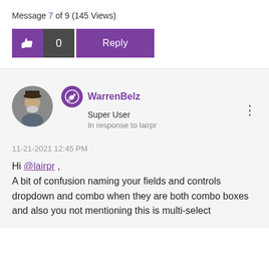Message 7 of 9 (145 Views)
[Figure (infographic): Like button (thumbs up icon) in purple, count 0 in dark gray, Reply button in purple]
[Figure (photo): User avatar photo of WarrenBelz, an older man with beard, circular crop]
WarrenBelz
Super User
In response to lairpr
11-21-2021 12:45 PM
Hi @lairpr ,
A bit of confusion naming your fields and controls dropdown and combo when they are both combo boxes and also you not mentioning this is multi-select